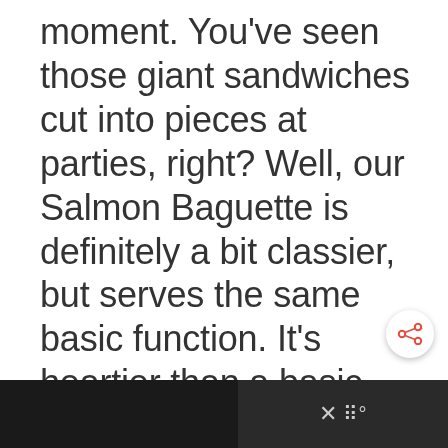moment. You've seen those giant sandwiches cut into pieces at parties, right? Well, our Salmon Baguette is definitely a bit classier, but serves the same basic function. It's heartier than a basic appetizer